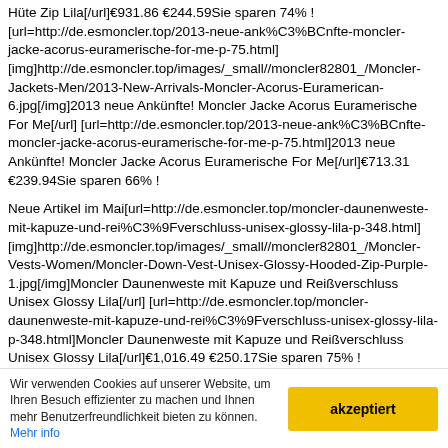Hüte Zip Lila[/url]€931.86 €244.59Sie sparen 74% ! [url=http://de.esmoncler.top/2013-neue-ank%C3%BCnfte-moncler-jacke-acorus-euramerische-for-me-p-75.html] [img]http://de.esmoncler.top/images/_small//moncler82801_/Moncler-Jackets-Men/2013-New-Arrivals-Moncler-Acorus-Euramerican-6.jpg[/img]2013 neue Ankünfte! Moncler Jacke Acorus Euramerische For Me[/url] [url=http://de.esmoncler.top/2013-neue-ank%C3%BCnfte-moncler-jacke-acorus-euramerische-for-me-p-75.html]2013 neue Ankünfte! Moncler Jacke Acorus Euramerische For Me[/url]€713.31 €239.94Sie sparen 66% !
Neue Artikel im Mai[url=http://de.esmoncler.top/moncler-daunenweste-mit-kapuze-und-rei%C3%9Fverschluss-unisex-glossy-lila-p-348.html] [img]http://de.esmoncler.top/images/_small//moncler82801_/Moncler-Vests-Women/Moncler-Down-Vest-Unisex-Glossy-Hooded-Zip-Purple-1.jpg[/img]Moncler Daunenweste mit Kapuze und Reißverschluss Unisex Glossy Lila[/url] [url=http://de.esmoncler.top/moncler-daunenweste-mit-kapuze-und-rei%C3%9Fverschluss-unisex-glossy-lila-p-348.html]Moncler Daunenweste mit Kapuze und Reißverschluss Unisex Glossy Lila[/url]€1,016.49 €250.17Sie sparen 75% ! [url=http://de.esmoncler.top/moncler-frauen-reiher-reine-farbe-schwarz-p-349.html][img]http://de.esmoncler.top/images/_small//moncler82801_/Moncler-
Wir verwenden Cookies auf unserer Website, um Ihren Besuch effizienter zu machen und Ihnen mehr Benutzerfreundlichkeit bieten zu können. Mehr info
akzeptiert